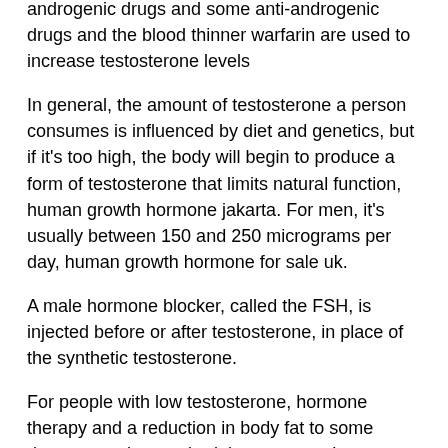androgenic drugs and some anti-androgenic drugs and the blood thinner warfarin are used to increase testosterone levels
In general, the amount of testosterone a person consumes is influenced by diet and genetics, but if it's too high, the body will begin to produce a form of testosterone that limits natural function, human growth hormone jakarta. For men, it's usually between 150 and 250 micrograms per day, human growth hormone for sale uk.
A male hormone blocker, called the FSH, is injected before or after testosterone, in place of the synthetic testosterone.
For people with low testosterone, hormone therapy and a reduction in body fat to some degree may be required, human growth hormone height increase.